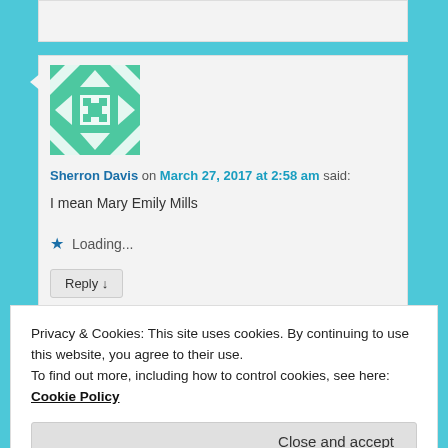[Figure (screenshot): Website comment section showing a user named Sherron Davis with a green geometric avatar, posting on March 27, 2017 at 2:58 am. Comment text reads: I mean Mary Emily Mills. Below are a loading star button and a Reply button.]
Sherron Davis on March 27, 2017 at 2:58 am said:
I mean Mary Emily Mills
Loading...
Reply ↓
Privacy & Cookies: This site uses cookies. By continuing to use this website, you agree to their use.
To find out more, including how to control cookies, see here: Cookie Policy
Close and accept